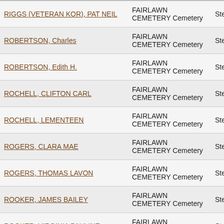| Name | Cemetery | County |
| --- | --- | --- |
| RIGGS (VETERAN KOR), PAT NEIL | FAIRLAWN CEMETERY Cemetery | Stephens |
| ROBERTSON, Charles | FAIRLAWN CEMETERY Cemetery | Stephens |
| ROBERTSON, Edith H. | FAIRLAWN CEMETERY Cemetery | Stephens |
| ROCHELL, CLIFTON CARL | FAIRLAWN CEMETERY Cemetery | Stephens |
| ROCHELL, LEMENTEEN | FAIRLAWN CEMETERY Cemetery | Stephens |
| ROGERS, CLARA MAE | FAIRLAWN CEMETERY Cemetery | Stephens |
| ROGERS, THOMAS LAVON | FAIRLAWN CEMETERY Cemetery | Stephens |
| ROOKER, JAMES BAILEY | FAIRLAWN CEMETERY Cemetery | Stephens |
| ROOKER, VIRGINIA PAULINE | FAIRLAWN CEMETERY Cemetery | Stephens |